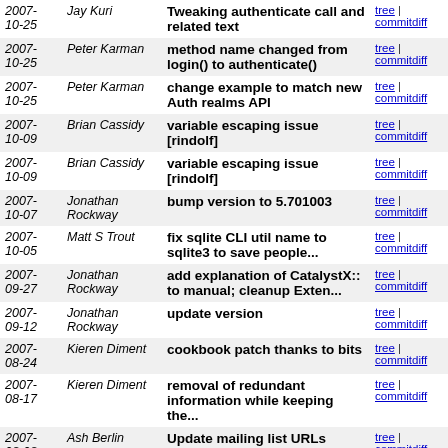| Date | Author | Message | Links |
| --- | --- | --- | --- |
| 2007-10-25 | Jay Kuri | Tweaking authenticate call and related text | tree | commitdiff |
| 2007-10-25 | Peter Karman | method name changed from login() to authenticate() | tree | commitdiff |
| 2007-10-25 | Peter Karman | change example to match new Auth realms API | tree | commitdiff |
| 2007-10-09 | Brian Cassidy | variable escaping issue [rindolf] | tree | commitdiff |
| 2007-10-09 | Brian Cassidy | variable escaping issue [rindolf] | tree | commitdiff |
| 2007-10-07 | Jonathan Rockway | bump version to 5.701003 | tree | commitdiff |
| 2007-10-05 | Matt S Trout | fix sqlite CLI util name to sqlite3 to save people... | tree | commitdiff |
| 2007-09-27 | Jonathan Rockway | add explanation of CatalystX:: to manual; cleanup Exten... | tree | commitdiff |
| 2007-09-12 | Jonathan Rockway | update version | tree | commitdiff |
| 2007-08-24 | Kieren Diment | cookbook patch thanks to bits | tree | commitdiff |
| 2007-08-17 | Kieren Diment | removal of redundant information while keeping the... | tree | commitdiff |
| 2007-08-08 | Ash Berlin | Update mailing list URLs | tree | commitdiff |
| 2007-07-12 | Kennedy Clark | Thanks for Shlomi for a variety of fixes. | tree | commitdiff |
| 2007- | Kieren | abraxxa's uri_for parent path | tree | commitdiff |